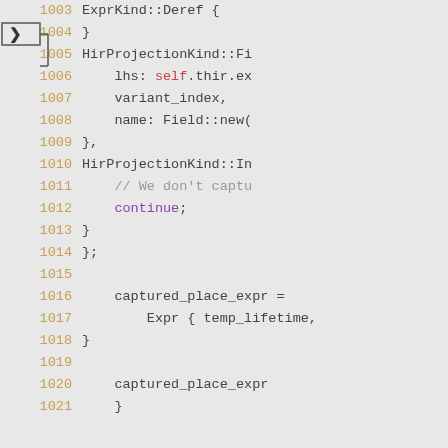[Figure (screenshot): Source code viewer showing lines 1003-1021 of a Rust file. Line 1004 has a debug arrow/breakpoint indicator. Code shows HirProjectionKind patterns with continue keyword and captured_place_expr assignments.]